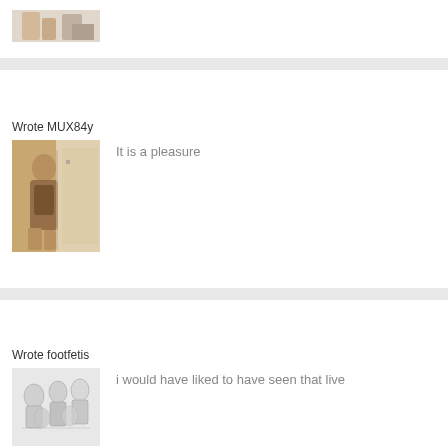[Figure (photo): Partial photo cropped at top of page showing legs/feet area]
Wrote MUX84y
[Figure (photo): Person taking mirror selfie in swimwear/bikini]
It is a pleasure
Wrote footfetis
[Figure (illustration): Black and white illustration showing multiple figures]
i would have liked to have seen that live